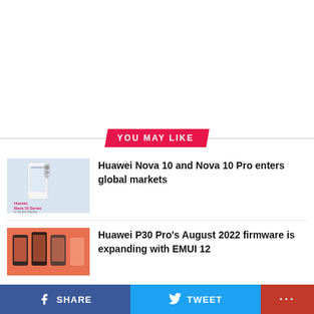YOU MAY LIKE
[Figure (photo): Huawei Nova 10 Series smartphone product image with pink/white device on light background, with text 'Huawei Nova 10 Series in Global Market']
Huawei Nova 10 and Nova 10 Pro enters global markets
[Figure (photo): Huawei P30 Pro smartphone product image on orange/coral background]
Huawei P30 Pro’s August 2022 firmware is expanding with EMUI 12
SHARE   TWEET   ...